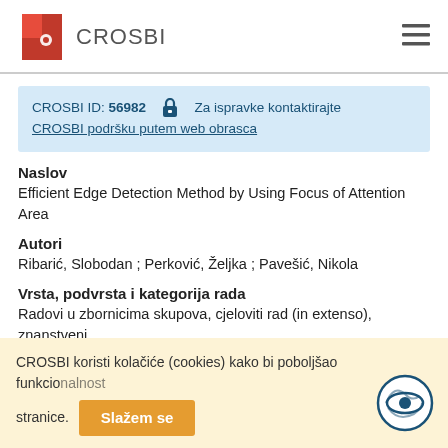CROSBI
CROSBI ID: 56982 🔒 Za ispravke kontaktirajte CROSBI podršku putem web obrasca
Naslov
Efficient Edge Detection Method by Using Focus of Attention Area
Autori
Ribarić, Slobodan ; Perković, Željka ; Pavešić, Nikola
Vrsta, podvrsta i kategorija rada
Radovi u zbornicima skupova, cjeloviti rad (in extenso), znanstveni
Izvornik
CROSBI koristi kolačiće (cookies) kako bi poboljšao funkcionalnost stranice.